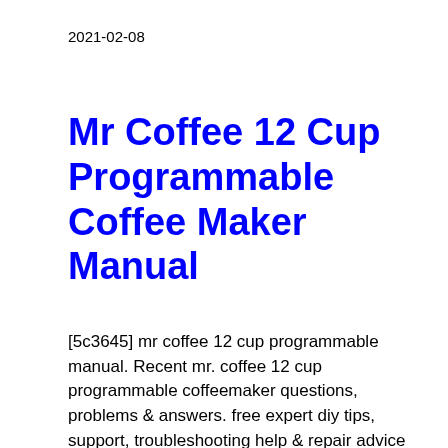2021-02-08
Mr Coffee 12 Cup Programmable Coffee Maker Manual
[5c3645] mr coffee 12 cup programmable manual. Recent mr. coffee 12 cup programmable coffeemaker questions, problems & answers. free expert diy tips, support, troubleshooting help & repair advice for all coffee. Going fast! mr. coffee 12-cup programmable coffee maker for $27.30